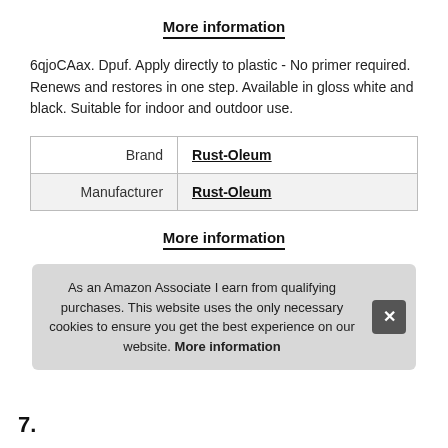More information
6qjoCAax. Dpuf. Apply directly to plastic - No primer required. Renews and restores in one step. Available in gloss white and black. Suitable for indoor and outdoor use.
| Brand | Rust-Oleum |
| Manufacturer | Rust-Oleum |
More information
As an Amazon Associate I earn from qualifying purchases. This website uses the only necessary cookies to ensure you get the best experience on our website. More information
7.